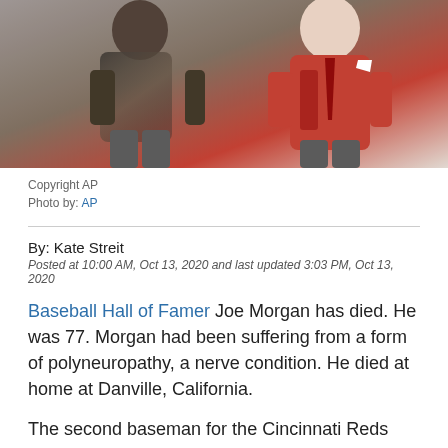[Figure (photo): Two people, one in a gray outfit and one in a red jacket with a white pocket square and patterned tie, appearing at an event.]
Copyright AP
Photo by: AP
By: Kate Streit
Posted at 10:00 AM, Oct 13, 2020 and last updated 3:03 PM, Oct 13, 2020
Baseball Hall of Famer Joe Morgan has died. He was 77. Morgan had been suffering from a form of polyneuropathy, a nerve condition. He died at home at Danville, California.
The second baseman for the Cincinnati Reds and